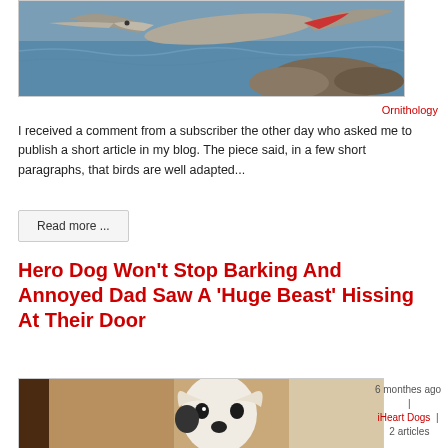[Figure (photo): A bird in flight over rocky coastal water, with spread wings and a long bill]
Ornithology
I received a comment from a subscriber the other day who asked me to publish a short article in my blog. The piece said, in a few short paragraphs, that birds are well adapted...
Read more ...
Hero Dog Won't Stop Barking And Annoyed Dad Saw A 'Huge Beast' Hissing At Their Door
[Figure (photo): A white dog peeking around a door]
6 monthes ago | iHeart Dogs | 2 articles